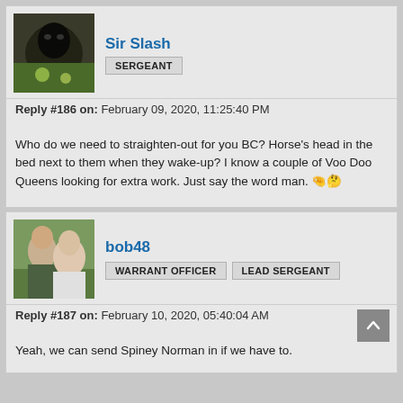Sir Slash
SERGEANT
Reply #186 on: February 09, 2020, 11:25:40 PM
Who do we need to straighten-out for you BC? Horse's head in the bed next to them when they wake-up? I know a couple of Voo Doo Queens looking for extra work. Just say the word man. 🤔
bob48
WARRANT OFFICER   LEAD SERGEANT
Reply #187 on: February 10, 2020, 05:40:04 AM
Yeah, we can send Spiney Norman in if we have to.